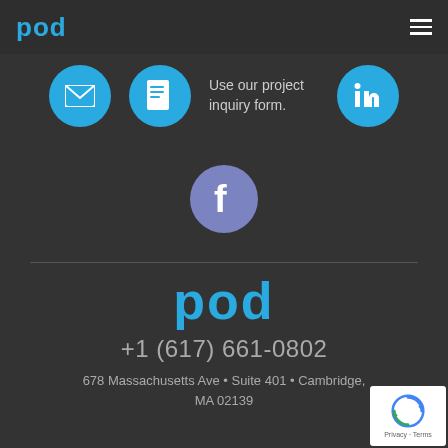[Figure (logo): pod logo in cyan/blue color, top left]
[Figure (infographic): Hamburger menu icon top right]
[Figure (infographic): Email icon circle (cyan), document/form icon circle (cyan), LinkedIn icon circle (cyan), with text 'Use our project inquiry form.']
Use our project inquiry form.
[Figure (infographic): Facebook icon circle (purple/blue)]
[Figure (logo): pod logo large in cyan, centered lower half]
+1 (617) 661-0802
678 Massachusetts Ave • Suite 401 • Cambridge, MA 02139
[Figure (other): reCAPTCHA badge bottom right with Privacy and Terms text]